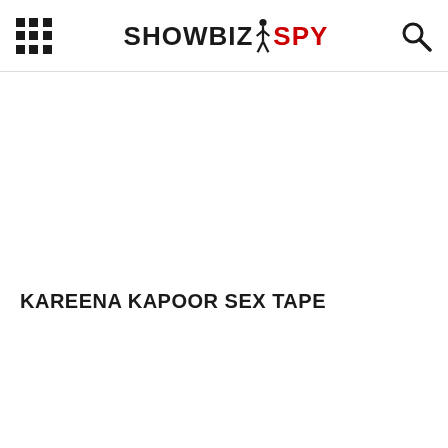SHOWBIZSPY
KAREENA KAPOOR SEX TAPE